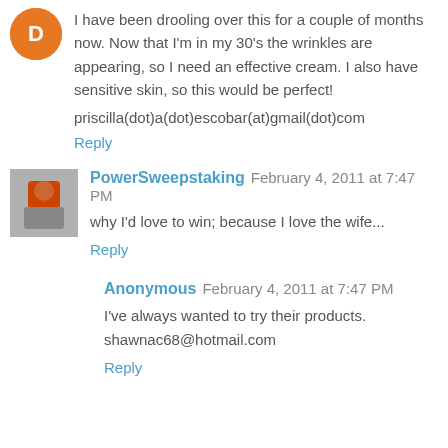I have been drooling over this for a couple of months now. Now that I'm in my 30's the wrinkles are appearing, so I need an effective cream. I also have sensitive skin, so this would be perfect!
priscilla(dot)a(dot)escobar(at)gmail(dot)com
Reply
PowerSweepstaking  February 4, 2011 at 7:47 PM
why I'd love to win; because I love the wife...
Reply
Anonymous  February 4, 2011 at 7:47 PM
I've always wanted to try their products. shawnac68@hotmail.com
Reply